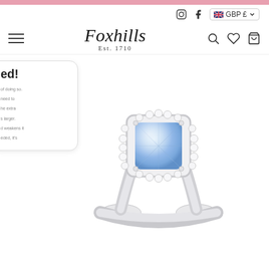Foxhills Est. 1710 — navigation header with Instagram, Facebook, GBP currency selector, hamburger menu, search, wishlist, and bag icons
[Figure (screenshot): Screenshot of Foxhills jewellery e-commerce website showing a cushion-cut light blue sapphire/aquamarine ring set in white gold with a diamond halo surround. A partially visible cookie/notification popup card is visible on the left side. The site has a pink header bar, logo in italic script reading 'Foxhills Est. 1710', and navigation icons.]